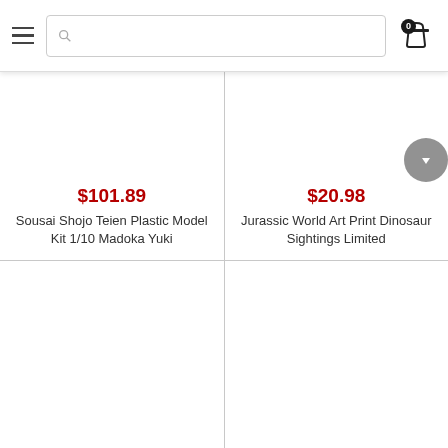Navigation bar with hamburger menu, search box, and cart icon (0 items)
[Figure (screenshot): Product card image area (blank/white) for Sousai Shojo Teien product]
$101.89
Sousai Shojo Teien Plastic Model Kit 1/10 Madoka Yuki
[Figure (screenshot): Product card image area (blank/white) for Jurassic World Art Print product]
$20.98
Jurassic World Art Print Dinosaur Sightings Limited
[Figure (screenshot): Bottom-left product card (partially visible, image only)]
[Figure (screenshot): Bottom-right product card (partially visible, image only)]